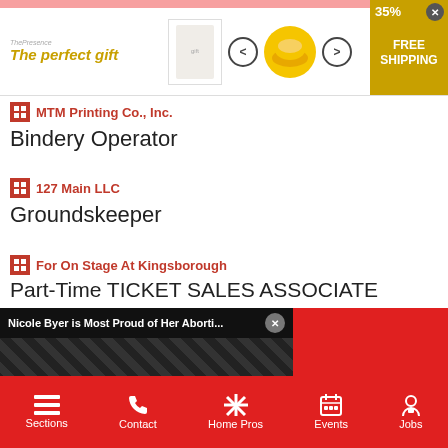[Figure (screenshot): Advertisement banner for 'The perfect gift' with golden tagline, bowl image, navigation arrows, and 35% FREE SHIPPING badge]
MTM Printing Co., Inc.
Bindery Operator
127 Main LLC
Groundskeeper
For On Stage At Kingsborough
Part-Time TICKET SALES ASSOCIATE
[Figure (screenshot): Video overlay showing 'Nicole Byer is Most Proud of Her Aborti...' with a woman (Nicole Byer) in a black outfit with NICOLE-BYER label, mute button, and Entertainment watermark]
Sections  Contact  Home Pros  Events  Jobs